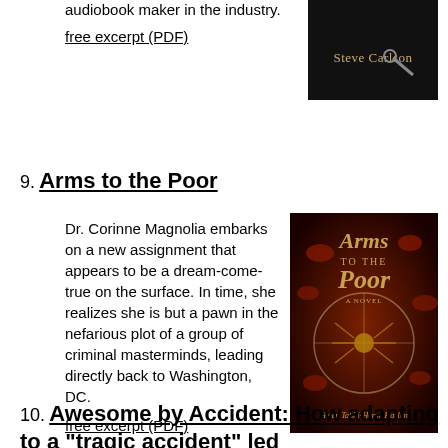audiobook maker in the industry.
free excerpt (PDF)
[Figure (photo): Book cover with dark background showing 'Steve Carlson' text and a key image]
9. Arms to the Poor
Dr. Corinne Magnolia embarks on a new assignment that appears to be a dream-come-true on the surface. In time, she realizes she is but a pawn in the nefarious plot of a group of criminal masterminds, leading directly back to Washington, DC.
free excerpt (PDF)
[Figure (photo): Book cover for 'Arms to the Poor - A Novel' with dark red background showing blood cells and a spider-like figure in a crosshair circle]
10. Awesome by Accident: How adapting to a "tragic accident" led...